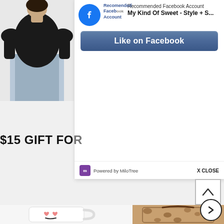[Figure (screenshot): Screenshot of a website page showing a MiloTree Facebook popup overlay. Top-left shows a fashion photo of a woman in a black top with jeans. The popup shows a Facebook recommended account widget for 'My Kind Of Sweet - Style + S...' with a blue 'Like on Facebook' button, powered by MiloTree branding, and an X CLOSE button. Below the popup is partial text '$15 GIFT FO...' and at the bottom are product images including a white mug with heart eyes and a leopard print tote bag. An up-arrow button and a right-arrow circle navigation button are also visible.]